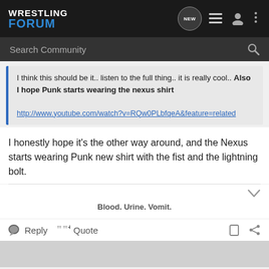WRESTLING FORUM
Search Community
I think this should be it.. listen to the full thing.. it is really cool.. Also I hope Punk starts wearing the nexus shirt

http://www.youtube.com/watch?v=RQw0PLbfqeA&feature=related
I honestly hope it's the other way around, and the Nexus starts wearing Punk new shirt with the fist and the lightning bolt.
Blood. Urine. Vomit.
Reply   Quote